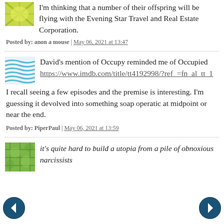I'm thinking that a number of their offspring will be flying with the Evening Star Travel and Real Estate Corporation.
Posted by: anon a mouse | May 06, 2021 at 13:47
David's mention of Occupy reminded me of Occupied https://www.imdb.com/title/tt4192998/?ref_=fn_al_tt_1
I recall seeing a few episodes and the premise is interesting. I'm guessing it devolved into something soap operatic at midpoint or near the end.
Posted by: PiperPaul | May 06, 2021 at 13:59
it's quite hard to build a utopia from a pile of obnoxious narcissists